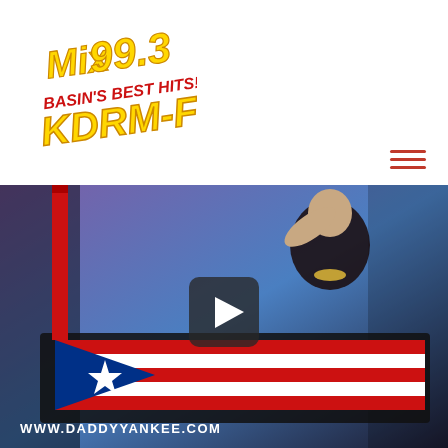[Figure (logo): Mix 99.3 KDRM-FM radio station logo. Text reads 'Mix 99.3 BASIN'S BEST HITS! KDRM-FM' in yellow and red stylized lettering.]
[Figure (screenshot): Video thumbnail showing a man in a black shirt and gold chain sitting next to a Puerto Rico flag laid flat on a table, with a purple/blue lit background. A play button overlay is visible in the center. Bottom left watermark reads 'WWW.DADDYYANKEE.COM'.]